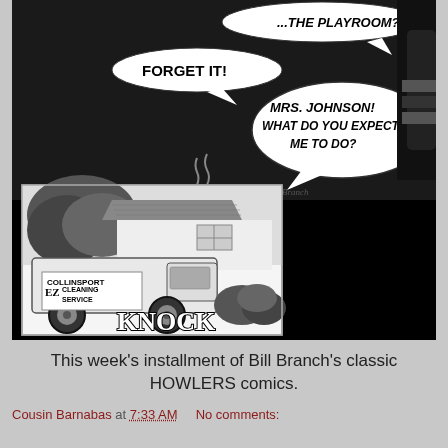[Figure (illustration): Black and white comic strip panel showing a scene with speech bubbles reading '...THE PLAYROOM?', 'FORGET IT!', and 'MRS. JOHNSON! WHAT DO YOU EXPECT ME TO DO?'. Lower panel shows a house exterior with a truck labeled 'COLLINSPORT EZ CLEANING SERVICE' parked outside, with large bold text 'KNOCK KNOCK!' at the bottom. Artist signature 'Branch' visible.]
This week's installment of Bill Branch's classic HOWLERS comics.
Cousin Barnabas at 7:33 AM   No comments: